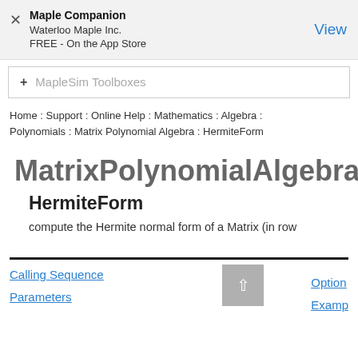Maple Companion
Waterloo Maple Inc.
FREE - On the App Store
View
+ MapleSim Toolboxes
Home : Support : Online Help : Mathematics : Algebra : Polynomials : Matrix Polynomial Algebra : HermiteForm
MatrixPolynomialAlgebra
HermiteForm
compute the Hermite normal form of a Matrix (in row
Calling Sequence
Options
Parameters
Examples